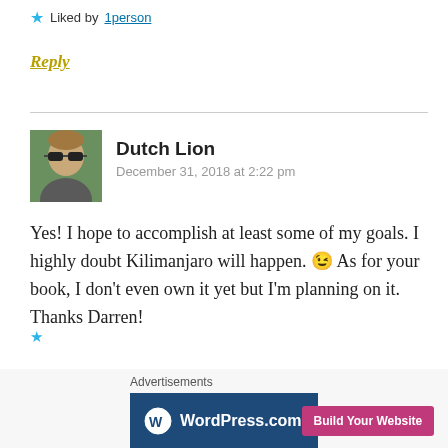★ Liked by 1person
Reply
Dutch Lion
December 31, 2018 at 2:22 pm
Yes! I hope to accomplish at least some of my goals. I highly doubt Kilimanjaro will happen. 😉 As for your book, I don't even own it yet but I'm planning on it. Thanks Darren!
Advertisements
[Figure (screenshot): WordPress.com advertisement banner with logo and 'Build Your Website' button]